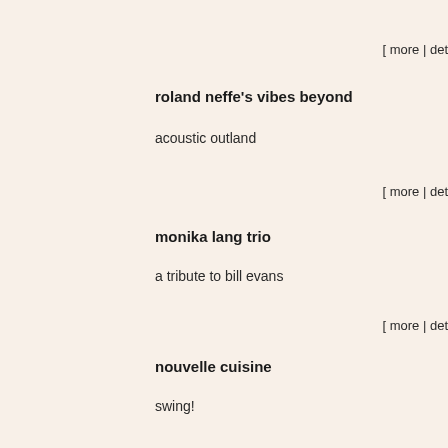[ more | det
roland neffe's vibes beyond
acoustic outland
[ more | det
monika lang trio
a tribute to bill evans
[ more | det
nouvelle cuisine
swing!
[ more | det
nouvelle cuisine